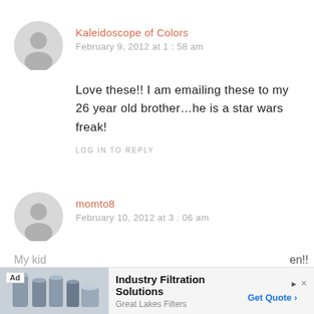Kaleidoscope of Colors
February 9, 2012 at 1:58 am
Love these!! I am emailing these to my 26 year old brother…he is a star wars freak!
LOG IN TO REPLY
momto8
February 10, 2012 at 3:06 am
[Figure (other): Advertisement banner: Industry Filtration Solutions, Great Lakes Filters, Get Quote button]
My kid
en!!